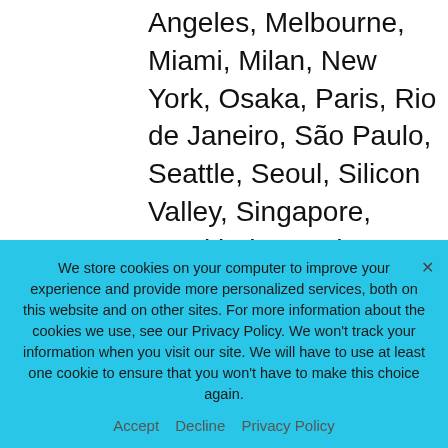Angeles, Melbourne, Miami, Milan, New York, Osaka, Paris, Rio de Janeiro, São Paulo, Seattle, Seoul, Silicon Valley, Singapore, Stockholm, Sydney, Tokyo, To D.C. and Zurich.
Azure VMware Solution is available via Platform Equinix in 10 global Azure regions today. The hybrid cloud solution can be accessed directly in Equinix IBX data centers located
We store cookies on your computer to improve your experience and provide more personalized services, both on this website and on other sites. For more information about the cookies we use, see our Privacy Policy. We won't track your information when you visit our site. We will have to use at least one cookie to ensure that you won't have to make this choice again.
Accept   Decline   Privacy Policy